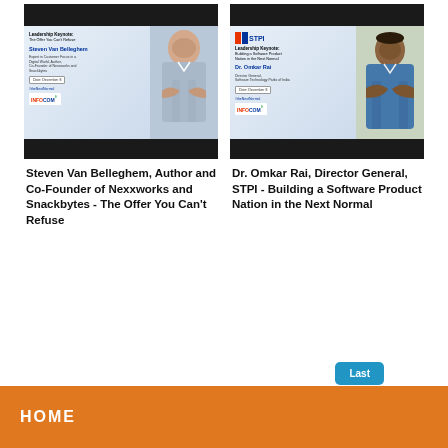[Figure (photo): Leadership Keynote card for Steven Van Belleghem - The Offer You Can't Refuse, with speaker photo]
[Figure (photo): Leadership Keynote card for Dr. Omkar Rai, Director General STPI - Building a Software Product Nation in the Next Normal, with speaker photo]
Steven Van Belleghem, Author and Co-Founder of Nexxworks and Snackbytes - The Offer You Can't Refuse
Dr. Omkar Rai, Director General, STPI - Building a Software Product Nation in the Next Normal
Last
< 1 2 3 4 >
HOME